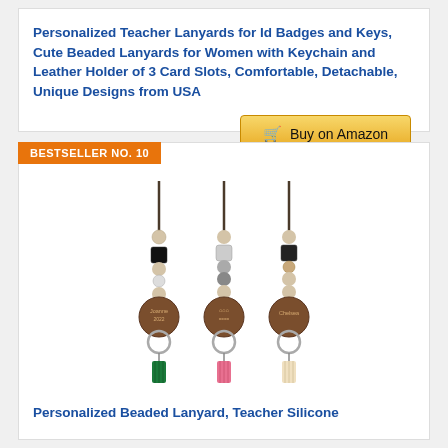Personalized Teacher Lanyards for Id Badges and Keys, Cute Beaded Lanyards for Women with Keychain and Leather Holder of 3 Card Slots, Comfortable, Detachable, Unique Designs from USA
Buy on Amazon
BESTSELLER NO. 10
[Figure (photo): Three personalized beaded lanyards with wooden engraved pendants, silicone and black beads, metal key rings, and colorful tassels (green, pink, cream)]
Personalized Beaded Lanyard, Teacher Silicone